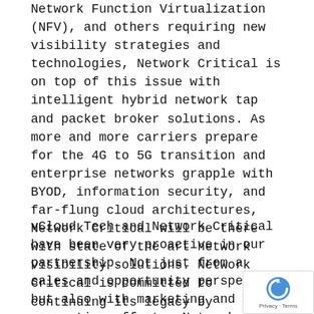Network Function Virtualization (NFV), and others requiring new visibility strategies and technologies, Network Critical is on top of this issue with intelligent hybrid network tap and packet broker solutions. As more and more carriers prepare for the 4G to 5G transition and enterprise networks grapple with BYOD, information security, and far-flung cloud architectures, Network Critical will be there with state of the art network visibility solutions. Network Critical is committed to continuing its legacy by providing innovative, reliable, and cost-effective visibility solutions for networks today and into the future.
vCloud Tech and Network Critical have been very proactive in our partnership. Not just from a sales and opportunity perspective but also with marketing and lead generation efforts. Network Critical finds vCloud Tech to be an active partner to work with and open to communicate. We look forward to many years of